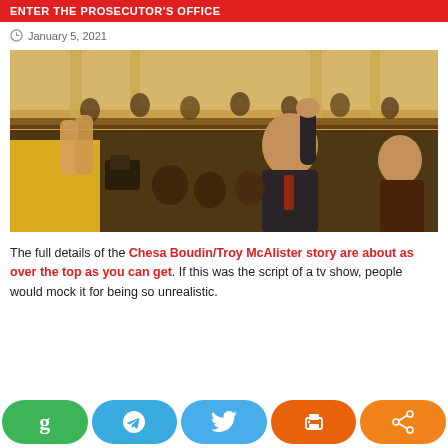ENTER THE PROSECUTOR'S OFFICE
January 5, 2021
[Figure (photo): A man in a suit raises his fist in celebration inside an ornate hall while people around him clap and cheer. A woman in a yellow top claps in the foreground. The room has painted murals and wooden balconies.]
The full details of the Chesa Boudin/Troy McAlister story are about as over the top as you can get. If this was the script of a tv show, people would mock it for being so unrealistic.